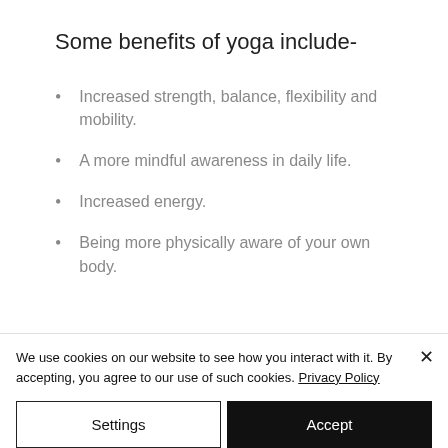Some benefits of yoga include-
Increased strength, balance, flexibility and mobility.
A more mindful awareness in daily life.
Increased energy.
Being more physically aware of your own body.
We use cookies on our website to see how you interact with it. By accepting, you agree to our use of such cookies. Privacy Policy